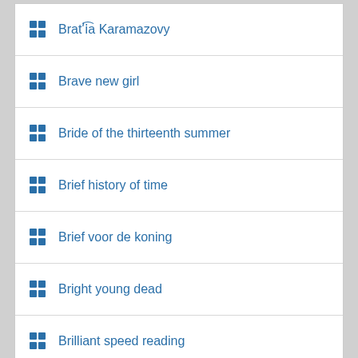Bratʹi͡a Karamazovy
Brave new girl
Bride of the thirteenth summer
Brief history of time
Brief voor de koning
Bright young dead
Brilliant speed reading
Bringing up bébé
British Columbia & The Yukon
Brutta faccenda
Brúðan